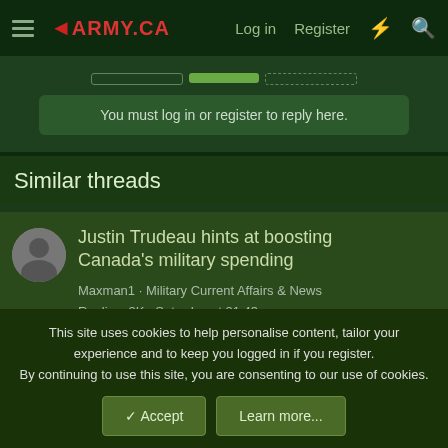army.ca — Log in | Register
You must log in or register to reply here.
Similar threads
Justin Trudeau hints at boosting Canada's military spending
Maxman1 · Military Current Affairs & News
Replies: 2K · Saturday at 21:43
J.L. Granatstein: Canada has pressing
This site uses cookies to help personalise content, tailor your experience and to keep you logged in if you register.
By continuing to use this site, you are consenting to our use of cookies.